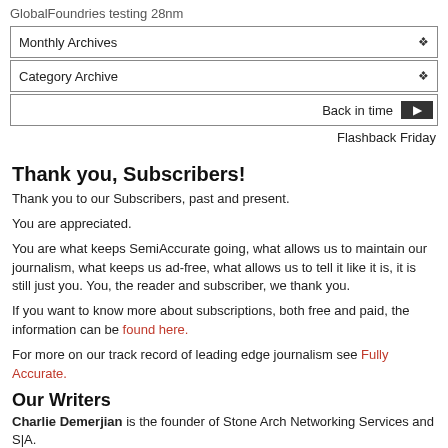GlobalFoundries testing 28nm
Monthly Archives
Category Archive
Back in time
Flashback Friday
Thank you, Subscribers!
Thank you to our Subscribers, past and present.
You are appreciated.
You are what keeps SemiAccurate going, what allows us to maintain our journalism, what keeps us ad-free, what allows us to tell it like it is, it is still just you. You, the reader and subscriber, we thank you.
If you want to know more about subscriptions, both free and paid, the information can be found here.
For more on our track record of leading edge journalism see Fully Accurate.
Our Writers
Charlie Demerjian is the founder of Stone Arch Networking Services and S|A.